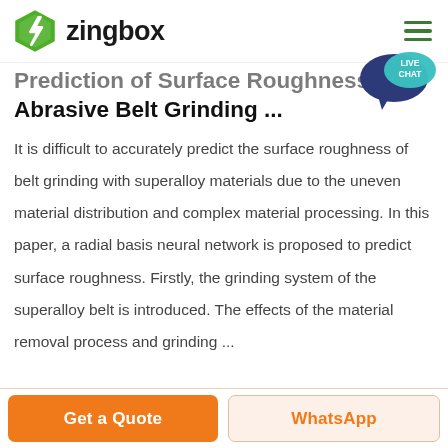zingbox
Prediction of Surface Roughness of Abrasive Belt Grinding ...
It is difficult to accurately predict the surface roughness of belt grinding with superalloy materials due to the uneven material distribution and complex material processing. In this paper, a radial basis neural network is proposed to predict surface roughness. Firstly, the grinding system of the superalloy belt is introduced. The effects of the material removal process and grinding ...